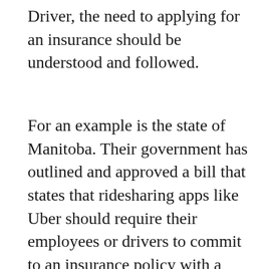Driver, the need to applying for an insurance should be understood and followed.
For an example is the state of Manitoba. Their government has outlined and approved a bill that states that ridesharing apps like Uber should require their employees or drivers to commit to an insurance policy with a coverage amounting to $100,000. This amount covers injuries and damages to properties during an accident. During your service as an Uber driver is when the insurance